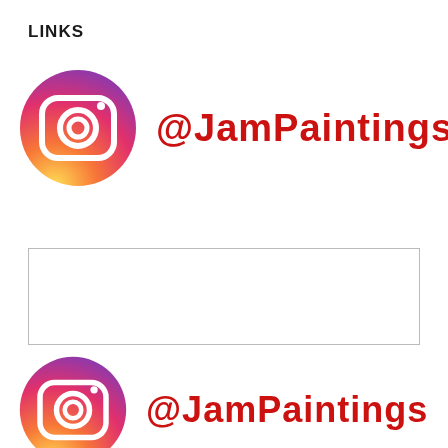LINKS
[Figure (logo): Instagram logo circle icon with gradient (orange to purple)]
@JAMPaintings
[Figure (other): Empty white rectangle with thin border]
[Figure (logo): Instagram logo circle icon with gradient (orange to purple)]
@JAMPaintings